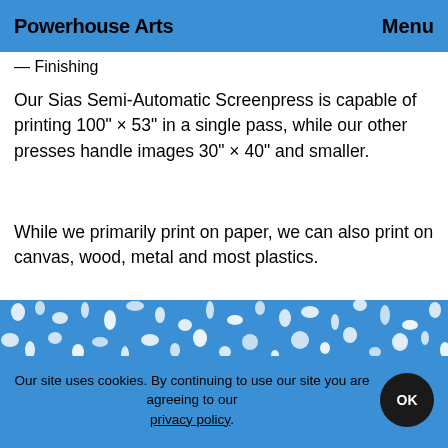Powerhouse Arts   Menu
— Finishing
Our Sias Semi-Automatic Screenpress is capable of printing 100" × 53" in a single pass, while our other presses handle images 30" × 40" and smaller.
While we primarily print on paper, we can also print on canvas, wood, metal and most plastics.
[Figure (photo): Close-up abstract image of blue and white screen-printed texture pattern, resembling a halftone or mesh print.]
Our site uses cookies. By continuing to use our site you are agreeing to our privacy policy.